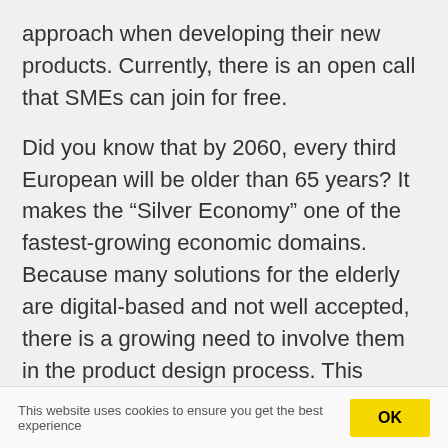approach when developing their new products. Currently, there is an open call that SMEs can join for free.
Did you know that by 2060, every third European will be older than 65 years? It makes the “Silver Economy” one of the fastest-growing economic domains. Because many solutions for the elderly are digital-based and not well accepted, there is a growing need to involve them in the product design process. This brings the opportunity for SMEs in fields of technology
This website uses cookies to ensure you get the best experience OK